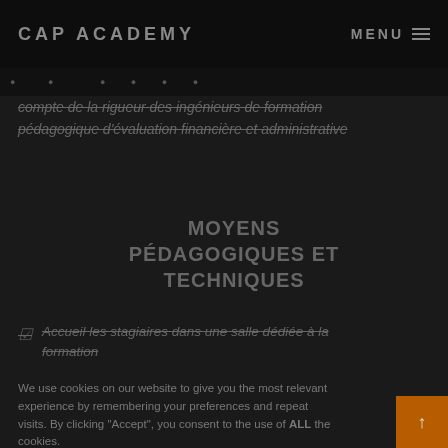CAP ACADEMY | MENU
compte de la rigueur des ingénieurs de formation pédagogique d'évaluation financière et administrative
MOYENS PÉDAGOGIQUES ET TECHNIQUES
Accueil les stagiaires dans une salle dédiée à la formation
We use cookies on our website to give you the most relevant experience by remembering your preferences and repeat visits. By clicking "Accept", you consent to the use of ALL the cookies.
Cookie settings | ACCEPT